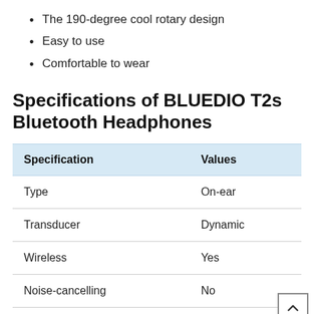The 190-degree cool rotary design
Easy to use
Comfortable to wear
Specifications of BLUEDIO T2s Bluetooth Headphones
| Specification | Values |
| --- | --- |
| Type | On-ear |
| Transducer | Dynamic |
| Wireless | Yes |
| Noise-cancelling | No |